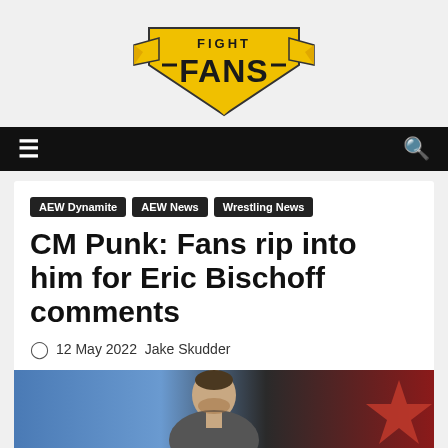FIGHT FANS
AEW Dynamite  AEW News  Wrestling News
CM Punk: Fans rip into him for Eric Bischoff comments
12 May 2022  Jake Skudder
[Figure (photo): Photo of CM Punk at an event, partial view of face and upper body, with a red star visible in the background]